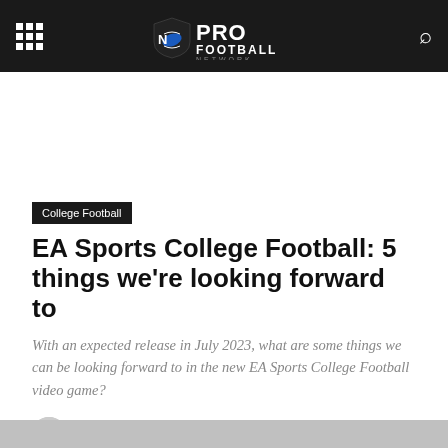Pro Football Network
College Football
EA Sports College Football: 5 things we're looking forward to
With an expected release in July 2023, what are some things we can be looking forward to in the new EA Sports College Football video game?
By Joe Broback   June 21, 2022